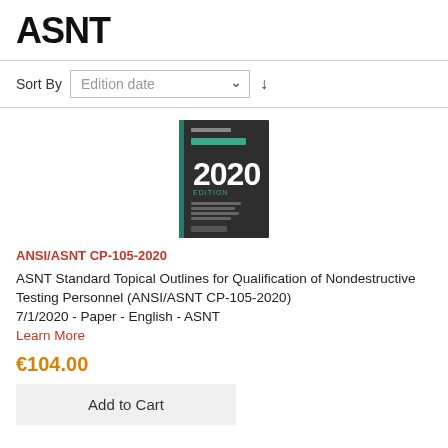ASNT
Sort By  Edition date
[Figure (photo): Book cover: ASNT Standard 2020 Edition, dark cover with teal accent text]
ANSI/ASNT CP-105-2020
ASNT Standard Topical Outlines for Qualification of Nondestructive Testing Personnel (ANSI/ASNT CP-105-2020)
7/1/2020 - Paper - English - ASNT
Learn More
€104.00
Add to Cart